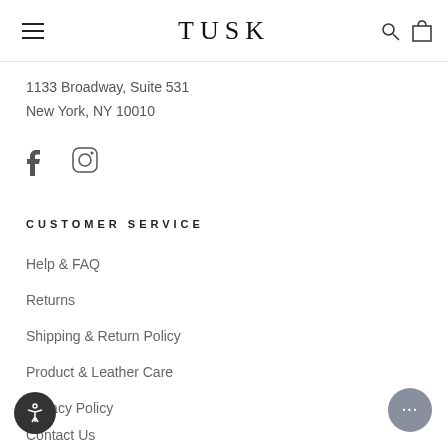TUSK
1133 Broadway, Suite 531
New York, NY 10010
[Figure (illustration): Facebook and Instagram social media icons]
CUSTOMER SERVICE
Help & FAQ
Returns
Shipping & Return Policy
Product & Leather Care
Privacy Policy
Contact Us